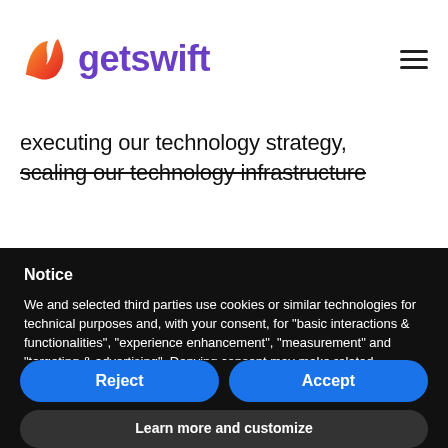[Figure (logo): GetSwift logo with orange/red flame icon and purple 'getswift' text, plus hamburger menu icon on the right]
executing our technology strategy, scaling our technology infrastructure
Notice
We and selected third parties use cookies or similar technologies for technical purposes and, with your consent, for "basic interactions & functionalities", "experience enhancement", "measurement" and "targeting & advertising". Denying consent may make related features unavailable.
You can freely give, deny, or withdraw your consent at any time.
Reject
Accept
Learn more and customize